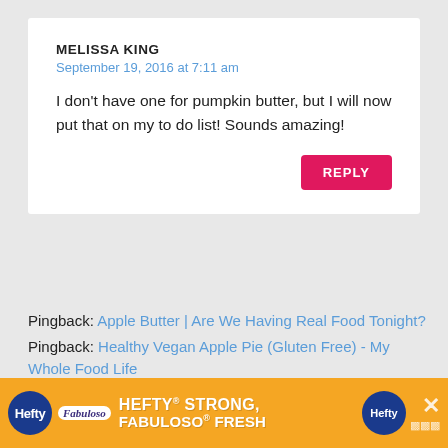MELISSA KING
September 19, 2016 at 7:11 am
I don't have one for pumpkin butter, but I will now put that on my to do list! Sounds amazing!
REPLY
Pingback: Apple Butter | Are We Having Real Food Tonight?
Pingback: Healthy Vegan Apple Pie (Gluten Free) - My Whole Food Life
Pingback: The 25 Best Paleo Crock Pot Recipes That Will Simplify Your Life
LEAVE A REPLY
[Figure (other): Advertisement banner: Hefty STRONG, Fabuloso FRESH with orange background]